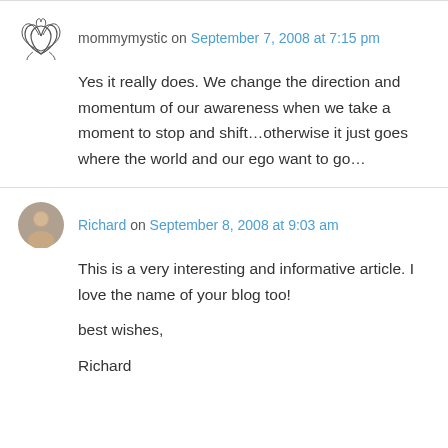mommymystic on September 7, 2008 at 7:15 pm
Yes it really does. We change the direction and momentum of our awareness when we take a moment to stop and shift…otherwise it just goes where the world and our ego want to go…
Richard on September 8, 2008 at 9:03 am
This is a very interesting and informative article. I love the name of your blog too!

best wishes,

Richard